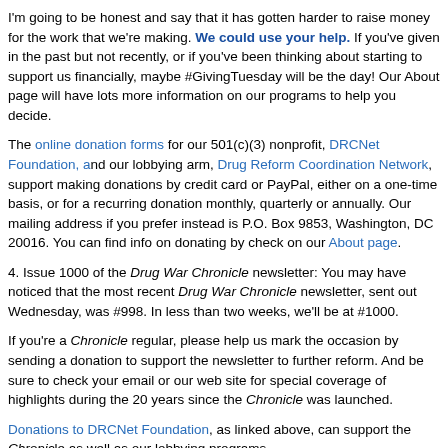I'm going to be honest and say that it has gotten harder to raise money for the work that we're making. We could use your help. If you've given in the past but not recently, or if you've been thinking about starting to support us financially, maybe #GivingTuesday will be the day! Our About page will have lots more information on our programs to help you decide.
The online donation forms for our 501(c)(3) nonprofit, DRCNet Foundation, and our lobbying arm, Drug Reform Coordination Network, support making donations by credit card or PayPal, either on a one-time basis, or for a recurring donation monthly, quarterly or annually. Our mailing address if you prefer instead is P.O. Box 9853, Washington, DC 20016. You can find info on donating by check on our About page.
4. Issue 1000 of the Drug War Chronicle newsletter: You may have noticed that the Drug War Chronicle newsletter, sent out Wednesday, was #998. In less than two weeks, we'll be at #1000.
If you're a Chronicle regular, please help us mark the occasion by sending a donation to support the newsletter to further reform. And be sure to check your email or our web site for special coverage of highlights during the 20 years since the Chronicle was launched.
Donations to DRCNet Foundation, as linked above, can support the Chronicle as well as our lobbying programs.
5. Remembering Maurice Hinchey: The Rohrabacher-Blumenauer amendment that I wrote about above, which protects medical marijuana, originally was called the Hinchey-Rohrabacher amendment. It was named after its first lead Democratic sponsor, Rep. Maurice Hinchey of New York state. We were saddened to read news of his passing at age 79.
[Figure (photo): Photo of a person standing outside near a building, partially visible on the right side of the page]